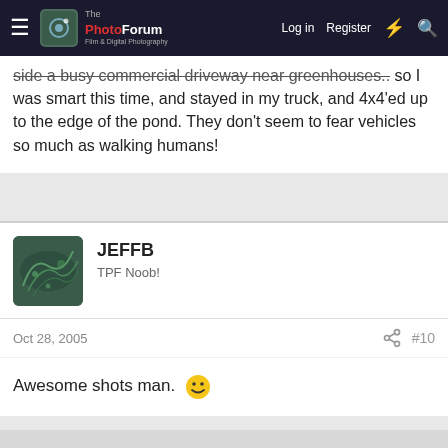ThePhotoForum | Log in | Register
side a busy commercial driveway near greenhouses.. so I was smart this time, and stayed in my truck, and 4x4'ed up to the edge of the pond. They don't seem to fear vehicles so much as walking humans!
JEFFB
TPF Noob!
Oct 28, 2005	#10
Awesome shots man. 🙂